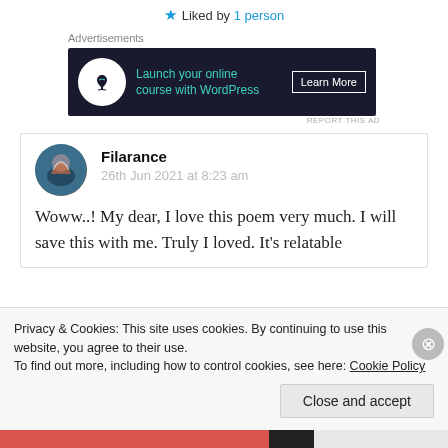★ Liked by 1 person
Advertisements
[Figure (other): Dark advertisement banner: 'Launch your online course with WordPress — Learn More' with bonsai tree icon]
REPORT THIS AD
Filarance
26th Jun 2021 at 8:23 am
Woww..! My dear, I love this poem very much. I will save this with me. Truly I loved. It's relatable
Privacy & Cookies: This site uses cookies. By continuing to use this website, you agree to their use.
To find out more, including how to control cookies, see here: Cookie Policy
Close and accept